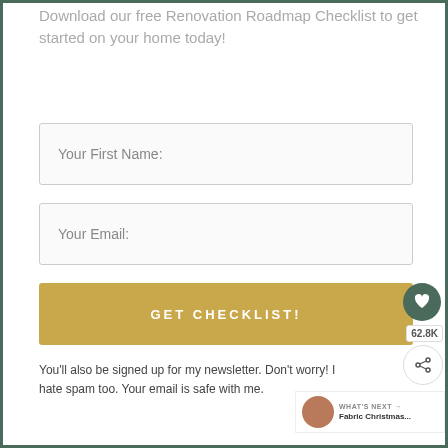Download our free Renovation Roadmap Checklist to get started on your home today!
Your First Name:
Your Email:
GET CHECKLIST!
You'll also be signed up for my newsletter. Don't worry! I hate spam too. Your email is safe with me.